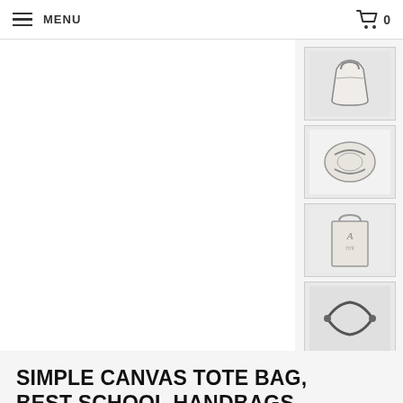≡ MENU   🛒 0
[Figure (photo): Thumbnail image 1: canvas tote bag with handles, front view]
[Figure (photo): Thumbnail image 2: tote bag overhead view showing handles]
[Figure (photo): Thumbnail image 3: tote bag standing upright view]
[Figure (photo): Thumbnail image 4: close-up of bag handles/clasps]
SIMPLE CANVAS TOTE BAG, BEST SCHOOL HANDBAGS, VINTAGE PURSES JYK04
0 (0 Review
JYK042
4.99
887 Rating available